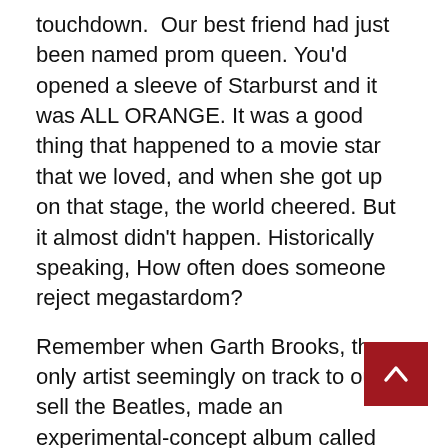touchdown. Our best friend had just been named prom queen. You'd opened a sleeve of Starburst and it was ALL ORANGE. It was a good thing that happened to a movie star that we loved, and when she got up on that stage, the world cheered. But it almost didn't happen. Historically speaking, How often does someone reject megastardom?
Remember when Garth Brooks, the only artist seemingly on track to out sell the Beatles, made an experimental-concept album called “The Life of Chris Gaines”? In which he portrayed a rock star cum martyr alter ego, the aforementioned Gaines, who would become the center figure of a crossover media event – an album and movie project called The Lamb?
You’d be forgiven if you said you didn’t, because album tanked commercially, was a critical laughingstock, and the planned film was quickly
[Figure (other): Red back-to-top button with white upward chevron arrow]